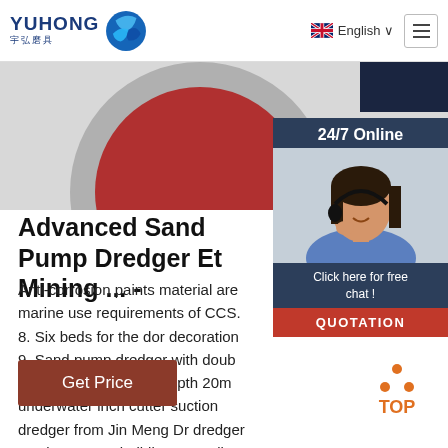YUHONG 宇弘磨具 — English
[Figure (photo): Product image of a grinding/cutting wheel with safety text label, partial circular disc visible with red and grey/silver sections]
[Figure (photo): 24/7 Online chat widget with a woman wearing a headset, button: Click here for free chat! QUOTATION]
Advanced Sand Pump Dredger Et Mining ... -
Anti-corrosion paints material are marine use requirements of CCS. 8. Six beds for the dor decoration 9. Sand pump dredger with doub pumps with dredging depth 20m underwater inch cutter suction dredger from Jin Meng Dr dredger can be custom building according to requirement Model Pipe ...
[Figure (other): Get Price button — brown/rust colored rectangular button with white text]
[Figure (other): TOP scroll-to-top button with orange dots arranged in triangle and orange TOP text]